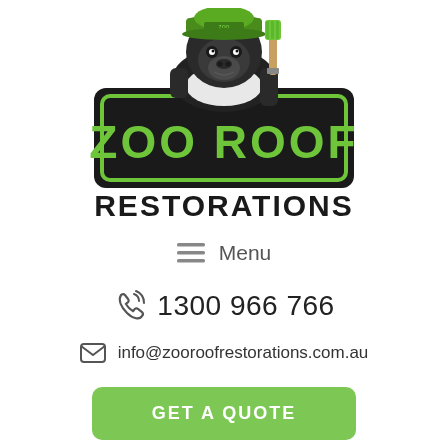[Figure (logo): Zoo Roof Restorations logo featuring a gorilla wearing a green cap and holding a paint brush, standing behind a dark badge with 'ZOO ROOF' in large green letters]
RESTORATIONS
☰ Menu
📞 1300 966 766
✉ info@zooroofrestorations.com.au
GET A QUOTE